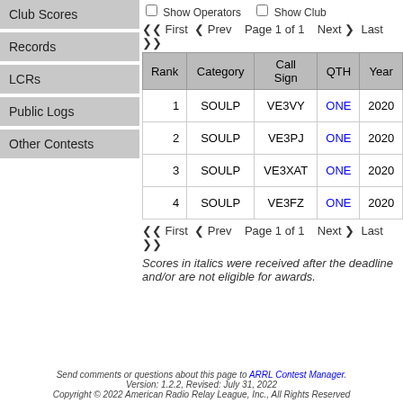Club Scores
Records
LCRs
Public Logs
Other Contests
☐ Show Operators  ☐ Show Club
❮❮ First ❮ Prev  Page 1 of 1  Next ❯ Last ❯❯
| Rank | Category | Call Sign | QTH | Year |
| --- | --- | --- | --- | --- |
| 1 | SOULP | VE3VY | ONE | 2020 |
| 2 | SOULP | VE3PJ | ONE | 2020 |
| 3 | SOULP | VE3XAT | ONE | 2020 |
| 4 | SOULP | VE3FZ | ONE | 2020 |
❮❮ First ❮ Prev  Page 1 of 1  Next ❯ Last ❯❯
Scores in italics were received after the deadline and/or are not eligible for awards.
Send comments or questions about this page to ARRL Contest Manager. Version: 1.2.2, Revised: July 31, 2022 Copyright © 2022 American Radio Relay League, Inc., All Rights Reserved